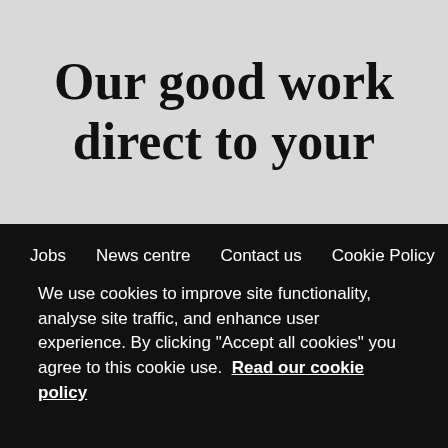Our good work direct to your
Jobs   News centre   Contact us   Cookie Policy
We use cookies to improve site functionality, analyse site traffic, and enhance user experience. By clicking "Accept all cookies" you agree to this cookie use.  Read our cookie policy